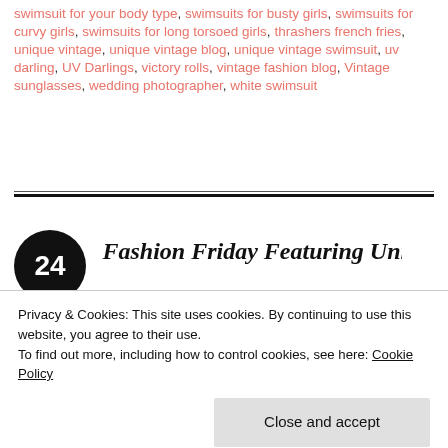swimsuit for your body type, swimsuits for busty girls, swimsuits for curvy girls, swimsuits for long torsoed girls, thrashers french fries, unique vintage, unique vintage blog, unique vintage swimsuit, uv darling, UV Darlings, victory rolls, vintage fashion blog, Vintage sunglasses, wedding photographer, white swimsuit
24 Fashion Friday Featuring Unique
Privacy & Cookies: This site uses cookies. By continuing to use this website, you agree to their use.
To find out more, including how to control cookies, see here: Cookie Policy
Close and accept
Hello my dears I'm so happy its Friday aren't you? This week I am